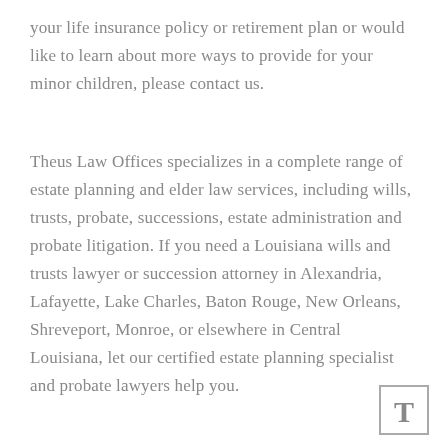your life insurance policy or retirement plan or would like to learn about more ways to provide for your minor children, please contact us.
Theus Law Offices specializes in a complete range of estate planning and elder law services, including wills, trusts, probate, successions, estate administration and probate litigation. If you need a Louisiana wills and trusts lawyer or succession attorney in Alexandria, Lafayette, Lake Charles, Baton Rouge, New Orleans, Shreveport, Monroe, or elsewhere in Central Louisiana, let our certified estate planning specialist and probate lawyers help you.
[Figure (logo): Theus Law Offices logo — a letter T inside a square border]